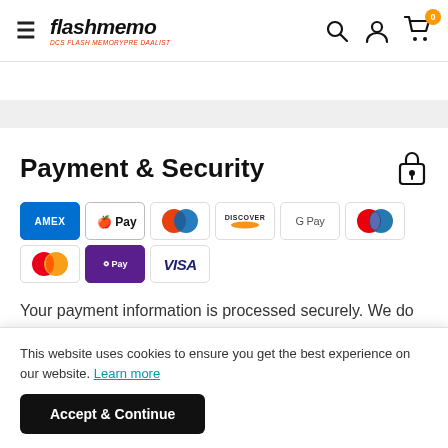flashmemo — DCS FLASH MEMORYPRE DAALIST
Payment & Security
[Figure (other): Payment method icons: Amex, Apple Pay, Diners Club, Discover, Google Pay, Maestro, Mastercard, O Pay, Visa]
Your payment information is processed securely. We do not store credit card details nor have access to your credit card information.
This website uses cookies to ensure you get the best experience on our website. Learn more
Accept & Continue